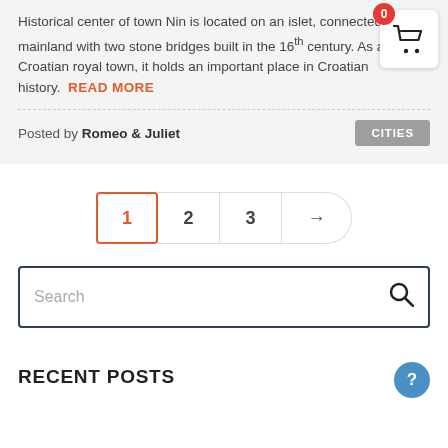Historical center of town Nin is located on an islet, connected to the mainland with two stone bridges built in the 16th century. As a first Croatian royal town, it holds an important place in Croatian history. READ MORE
Posted by Romeo & Juliet
CITIES
[Figure (other): Pagination bar with pages 1 (active, orange border), 2, 3, and a next arrow button]
Search
RECENT POSTS